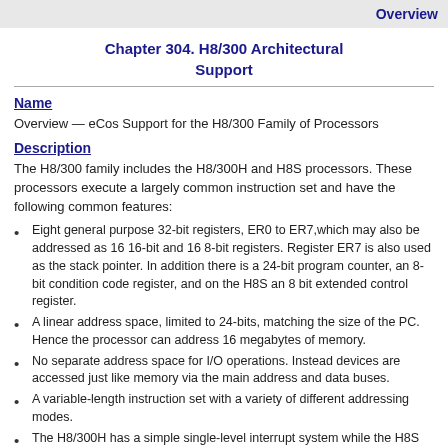Overview
Chapter 304. H8/300 Architectural Support
Name
Overview — eCos Support for the H8/300 Family of Processors
Description
The H8/300 family includes the H8/300H and H8S processors. These processors execute a largely common instruction set and have the following common features:
Eight general purpose 32-bit registers, ER0 to ER7,which may also be addressed as 16 16-bit and 16 8-bit registers. Register ER7 is also used as the stack pointer. In addition there is a 24-bit program counter, an 8-bit condition code register, and on the H8S an 8 bit extended control register.
A linear address space, limited to 24-bits, matching the size of the PC. Hence the processor can address 16 megabytes of memory.
No separate address space for I/O operations. Instead devices are accessed just like memory via the main address and data buses.
A variable-length instruction set with a variety of different addressing modes.
The H8/300H has a simple single-level interrupt system while the H8S